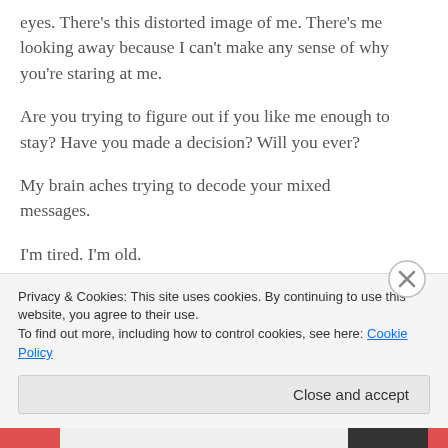eyes. There's this distorted image of me. There's me looking away because I can't make any sense of why you're staring at me.
Are you trying to figure out if you like me enough to stay? Have you made a decision? Will you ever?
My brain aches trying to decode your mixed messages.
I'm tired. I'm old.
I'm exhausted from overthinking. From trying to “figure it out.”
From wondering if you’re just waiting for someone
Privacy & Cookies: This site uses cookies. By continuing to use this website, you agree to their use.
To find out more, including how to control cookies, see here: Cookie Policy
Close and accept